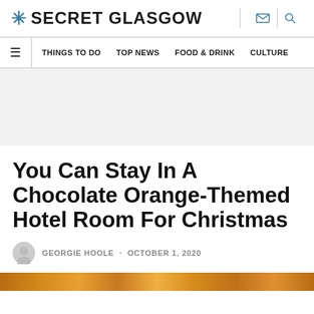SECRET GLASGOW
THINGS TO DO  TOP NEWS  FOOD & DRINK  CULTURE
You Can Stay In A Chocolate Orange-Themed Hotel Room For Christmas
GEORGIE HOOLE · OCTOBER 1, 2020
[Figure (photo): Partial view of a chocolate orange-themed hotel room image strip at the bottom of the page]